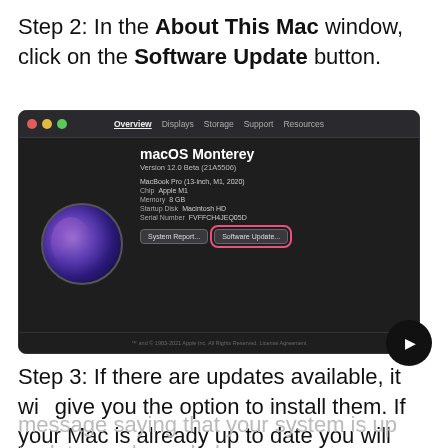Step 2: In the About This Mac window, click on the Software Update button.
[Figure (screenshot): macOS Monterey 'About This Mac' window showing Version 12.0 Beta (21A5506), MacBook Pro (13-inch, M1, 2020), Chip Apple M1, Memory 8 GB, Startup Disk Macintosh HD, Serial Number FVFFCH4JEQ05D. The Software Update button is highlighted with a pink/red rectangle outline.]
Step 3: If there are updates available, it will give you the option to install them. If your Mac is already up to date you will see a
message saying that your system is up to date as shown below.